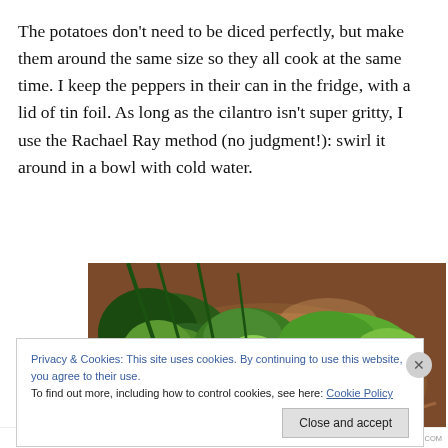The potatoes don't need to be diced perfectly, but make them around the same size so they all cook at the same time. I keep the peppers in their can in the fridge, with a lid of tin foil. As long as the cilantro isn't super gritty, I use the Rachael Ray method (no judgment!): swirl it around in a bowl with cold water.
[Figure (photo): Photo of fresh cilantro/herbs being washed in a glass bowl with water, viewed from above. The bowl has a brown/amber tint and green herbs are visible in the water.]
Privacy & Cookies: This site uses cookies. By continuing to use this website, you agree to their use.
To find out more, including how to control cookies, see here: Cookie Policy
Close and accept